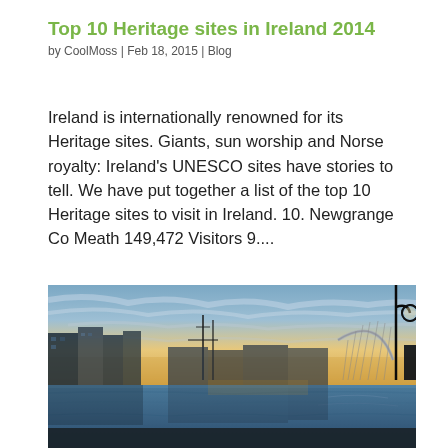Top 10 Heritage sites in Ireland 2014
by CoolMoss | Feb 18, 2015 | Blog
Ireland is internationally renowned for its Heritage sites.  Giants, sun worship and Norse royalty: Ireland’s UNESCO sites have stories to tell. We have put together a list of the top 10 Heritage sites to visit in Ireland. 10. Newgrange Co Meath 149,472 Visitors 9....
[Figure (photo): Panoramic photo of Dublin docklands at sunset/sunrise showing the River Liffey with reflections, modern buildings on the left, the Samuel Beckett Bridge arc visible in the distance on the right, and a lamp post in the foreground right. Dramatic cloudy sky with warm golden light.]